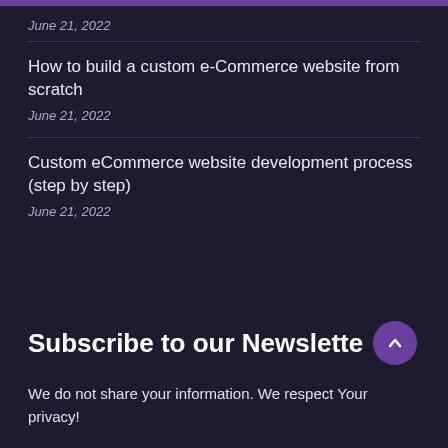June 21, 2022
How to build a custom e-Commerce website from scratch
June 21, 2022
Custom eCommerce website development process (step by step)
June 21, 2022
Subscribe to our Newsletter
We do not share your information. We respect Your privacy!